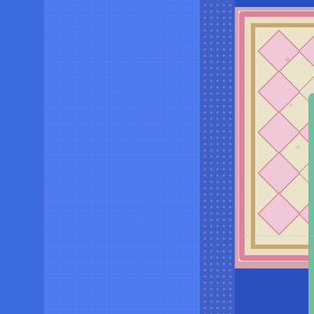[Figure (photo): Two overlapping quilt designs shown from above. Top-left quilt has pink diamond pattern on cream floral background with pink border. Bottom-right quilt has teal/turquoise diamond pattern on cream floral background with mint green border.]
This r from featur fantas young turquo from b additi tange Runne colorv
[Desca
Coleco Ellie R
Flower F
[Figure (photo): Quilt with star pattern in pink and teal/mint on cream floral background, partially visible at bottom of page.]
This i from a feetur fantas young